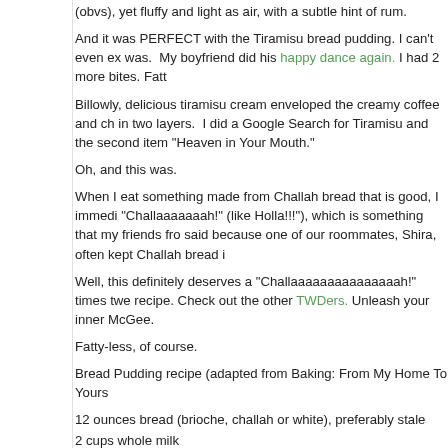(obvs), yet fluffy and light as air, with a subtle hint of rum.
And it was PERFECT with the Tiramisu bread pudding. I can't even ex was.  My boyfriend did his happy dance again. I had 2 more bites. Fatt
Billowly, delicious tiramisu cream enveloped the creamy coffee and ch in two layers.  I did a Google Search for Tiramisu and the second item "Heaven in Your Mouth."
Oh, and this was.
When I eat something made from Challah bread that is good, I immedi "Challaaaaaaah!" (like Holla!!!"), which is something that my friends fro said because one of our roommates, Shira, often kept Challah bread i
Well, this definitely deserves a "Challaaaaaaaaaaaaaaah!" times twe recipe. Check out the other TWDers. Unleash your inner McGee.
Fatty-less, of course.
Bread Pudding recipe (adapted from Baking: From My Home To Yours
12 ounces bread (brioche, challah or white), preferably stale
2 cups whole milk
1 1/4 cup heavy cram
1/2 cup strong brewed coffee, cooled
6 tablespoons dark rum